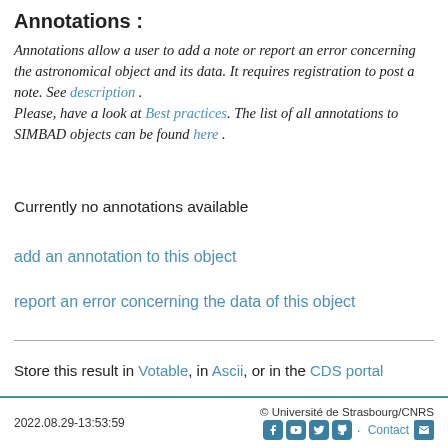Annotations :
Annotations allow a user to add a note or report an error concerning the astronomical object and its data. It requires registration to post a note. See description . Please, have a look at Best practices. The list of all annotations to SIMBAD objects can be found here .
Currently no annotations available
add an annotation to this object
report an error concerning the data of this object
Store this result in Votable, in Ascii, or in the CDS portal
To bookmark this query, right click on this link: simbad:IERS B1022-665 and select 'bookmark this link' or equivalent in the popup menu
2022.08.29-13:53:59   © Université de Strasbourg/CNRS   Contact